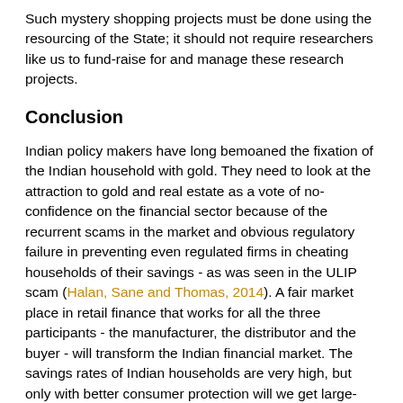Such mystery shopping projects must be done using the resourcing of the State; it should not require researchers like us to fund-raise for and manage these research projects.
Conclusion
Indian policy makers have long bemoaned the fixation of the Indian household with gold. They need to look at the attraction to gold and real estate as a vote of no-confidence on the financial sector because of the recurrent scams in the market and obvious regulatory failure in preventing even regulated firms in cheating households of their savings - as was seen in the ULIP scam (Halan, Sane and Thomas, 2014). A fair market place in retail finance that works for all the three participants - the manufacturer, the distributor and the buyer - will transform the Indian financial market. The savings rates of Indian households are very high, but only with better consumer protection will we get large-scale participation by households in the formal financial system. The policy proposals of this article are aimed at building this trust, while having the dynamism of the market economy. They are part of the larger project of putting consumer